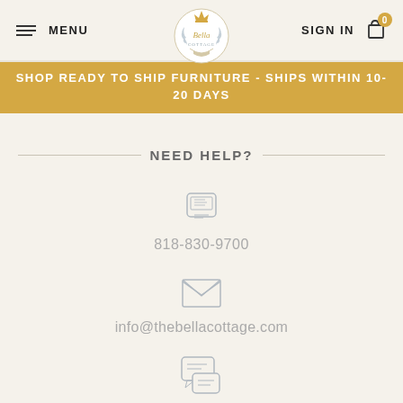[Figure (logo): The Bella Cottage logo with crown and wreath, circular badge style]
MENU
SIGN IN
SHOP READY TO SHIP FURNITURE - SHIPS WITHIN 10-20 DAYS
NEED HELP?
818-830-9700
info@thebellacottage.com
Live Chat